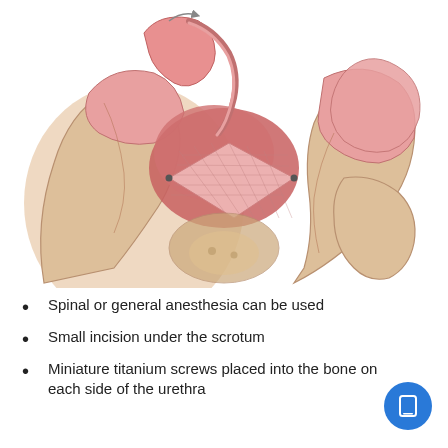[Figure (illustration): Medical illustration of a cross-sectional anatomical diagram showing a surgical mesh/sling placement under the urethra in the pelvic region, with titanium screws anchoring to pelvic bones on each side. Pink/salmon colored anatomy with a pink mesh diamond shape in the center.]
Spinal or general anesthesia can be used
Small incision under the scrotum
Miniature titanium screws placed into the bone on each side of the urethra